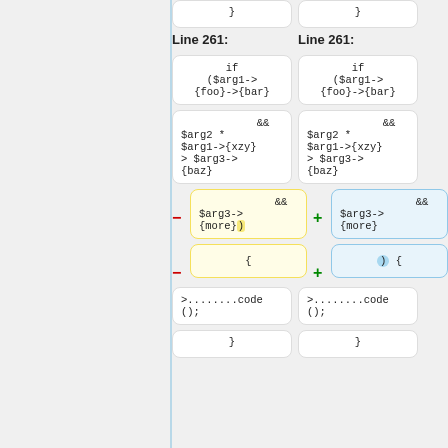[Figure (screenshot): Code diff view showing two columns of code blocks comparing Line 261. Left column shows removed code (yellow background with minus), right column shows added code (blue background with plus). Code blocks contain PHP-like code with if statements and variable references.]